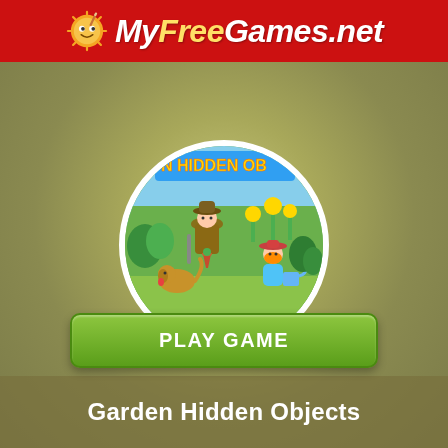MyFreeGames.net
[Figure (illustration): Circular game thumbnail showing a garden scene with an adult in explorer hat planting a pot, a girl with straw hat, a golden dog, sunflowers, garden tools, and green plants. Text 'HIDDEN OB' (Hidden Objects) visible at top of circle.]
PLAY GAME
Garden Hidden Objects